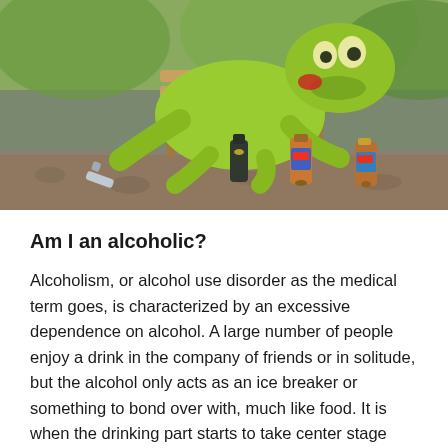[Figure (photo): A green Kermit the Frog plush toy slumped on a tiny wooden deck chair, surrounded by several small alcohol bottles (mini liquor bottles and beer bottles) on a gravel/pavement surface outdoors. The photo has a humorous tone illustrating the concept of alcoholism.]
Am I an alcoholic?
Alcoholism, or alcohol use disorder as the medical term goes, is characterized by an excessive dependence on alcohol. A large number of people enjoy a drink in the company of friends or in solitude, but the alcohol only acts as an ice breaker or something to bond over with, much like food. It is when the drinking part starts to take center stage that you know you have a problem. If you find yourself seeking out the company of your friends more often simply so you can have more than a couple of drinks, or if you find